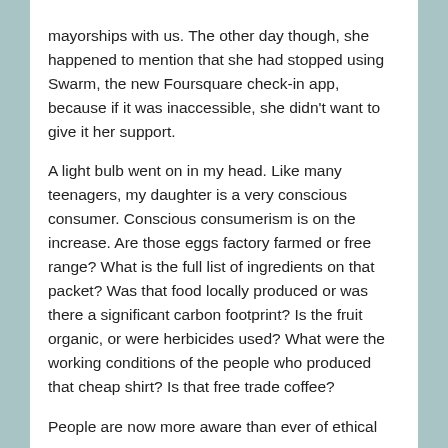mayorships with us. The other day though, she happened to mention that she had stopped using Swarm, the new Foursquare check-in app, because if it was inaccessible, she didn't want to give it her support.
A light bulb went on in my head. Like many teenagers, my daughter is a very conscious consumer. Conscious consumerism is on the increase. Are those eggs factory farmed or free range? What is the full list of ingredients on that packet? Was that food locally produced or was there a significant carbon footprint? Is the fruit organic, or were herbicides used? What were the working conditions of the people who produced that cheap shirt? Is that free trade coffee?
People are now more aware than ever of ethical